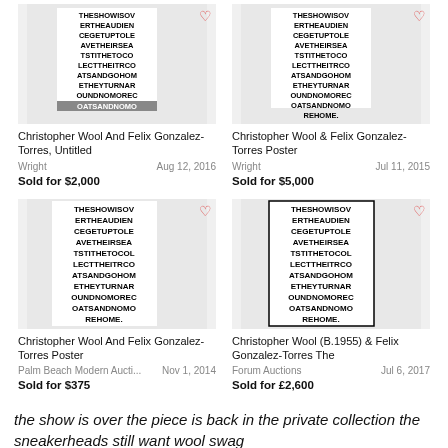[Figure (photo): Christopher Wool and Felix Gonzalez-Torres poster artwork, black text on white background, top left]
Christopher Wool And Felix Gonzalez-Torres, Untitled
Wright    Aug 12, 2016
Sold for $2,000
[Figure (photo): Christopher Wool & Felix Gonzalez-Torres poster artwork, black text on white background, top right]
Christopher Wool & Felix Gonzalez-Torres Poster
Wright    Jul 11, 2015
Sold for $5,000
[Figure (photo): Christopher Wool And Felix Gonzalez-Torres Poster artwork, bottom left]
Christopher Wool And Felix Gonzalez-Torres Poster
Palm Beach Modern Aucti...    Nov 1, 2014
Sold for $375
[Figure (photo): Christopher Wool (B.1955) & Felix Gonzalez-Torres The, bottom right]
Christopher Wool (B.1955) & Felix Gonzalez-Torres The
Forum Auctions    Jul 6, 2017
Sold for £2,600
the show is over the piece is back in the private collection the sneakerheads still want wool swag